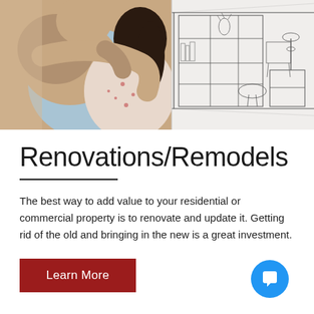[Figure (photo): Split image: left half shows a couple embracing from behind (man in light blue shirt, woman in floral dress with dark hair); right half shows a pencil sketch/blueprint drawing of a modern living room interior with built-in shelving and furniture.]
Renovations/Remodels
The best way to add value to your residential or commercial property is to renovate and update it. Getting rid of the old and bringing in the new is a great investment.
Learn More